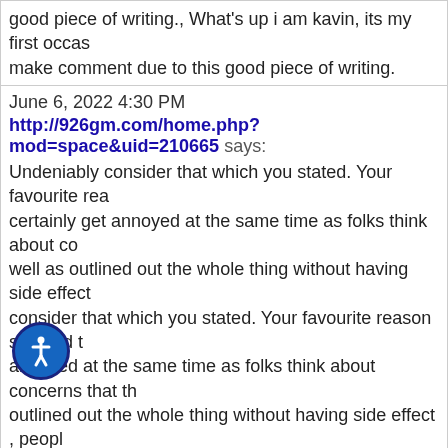good piece of writing., What's up i am kavin, its my first occasion to make comment due to this good piece of writing.
June 6, 2022 4:30 PM
http://926gm.com/home.php?mod=space&uid=210665 says:
Undeniably consider that which you stated. Your favourite reason seemed to certainly get annoyed at the same time as folks think about concerns that they well as outlined out the whole thing without having side effect , consider that which you stated. Your favourite reason seemed to annoyed at the same time as folks think about concerns that they outlined out the whole thing without having side effect , people
June 6, 2022 3:57 PM
jiangzuo888.com says:
Hi, just wanted to say, I loved this article. It was practical.Kee
June 6, 2022 3:32 PM
https://nerdgaming.science/wiki/Seven_Lies_Nitrado_Serv
Spot on with this write-up, I truly believe this website needs a
t on with this write-up, I truly believe this website needs a
June 6, 2022 3:22 PM
rlax.ilkia.ir says: